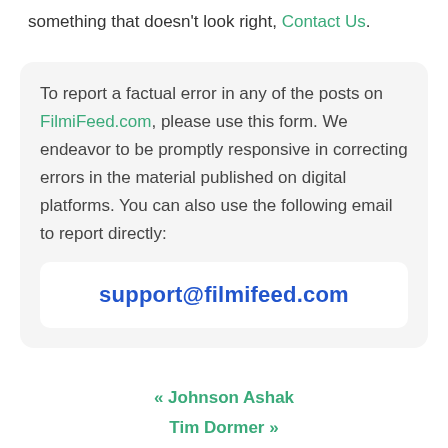something that doesn't look right, Contact Us.
To report a factual error in any of the posts on FilmiFeed.com, please use this form. We endeavor to be promptly responsive in correcting errors in the material published on digital platforms. You can also use the following email to report directly:
support@filmifeed.com
« Johnson Ashak
Tim Dormer »